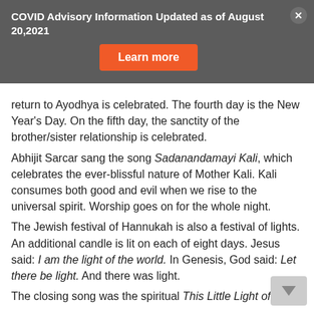COVID Advisory Information Updated as of August 20,2021
Learn more
return to Ayodhya is celebrated. The fourth day is the New Year's Day. On the fifth day, the sanctity of the brother/sister relationship is celebrated. Abhijit Sarcar sang the song Sadanandamayi Kali, which celebrates the ever-blissful nature of Mother Kali. Kali consumes both good and evil when we rise to the universal spirit. Worship goes on for the whole night. The Jewish festival of Hannukah is also a festival of lights. An additional candle is lit on each of eight days. Jesus said: I am the light of the world. In Genesis, God said: Let there be light. And there was light. The closing song was the spiritual This Little Light of Mine.
Tuesday, Nov 17 – Sri Ramakrishna and His Divine Play
Page #565-568 : Story of Vaishnavacharan and Gauri
Gauri Pandit believed that Sri Ramakrishna is the